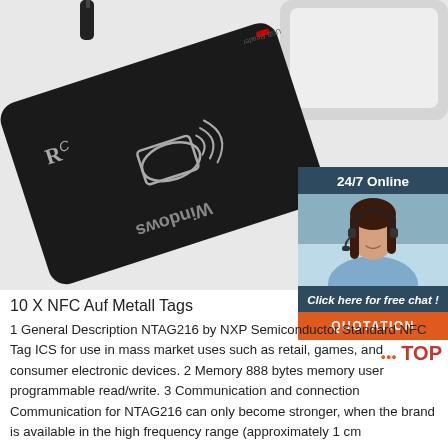[Figure (photo): Black NFC/USB card reader device (labeled 'Windows' upside down) placed on a white surface next to a laptop. The device has a contactless card symbol on top.]
[Figure (photo): Customer support chat widget sidebar showing a woman with a headset smiling, with text '24/7 Online', 'Click here for free chat!', and an orange QUOTATION button. A 'TOP' badge appears at the bottom right.]
10 X NFC Auf Metall Tags
1 General Description NTAG216 by NXP Semiconductor Standard NFC Tag ICS for use in mass market uses such as retail, games, and consumer electronic devices. 2 Memory 888 bytes memory user programmable read/write. 3 Communication and connection Communication for NTAG216 can only become stronger, when the brand is available in the high frequency range (approximately 1 cm